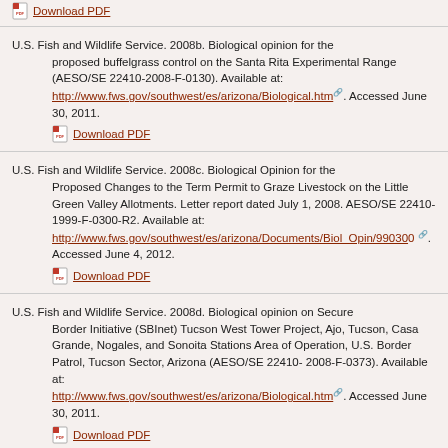Download PDF
U.S. Fish and Wildlife Service. 2008b. Biological opinion for the proposed buffelgrass control on the Santa Rita Experimental Range (AESO/SE 22410-2008-F-0130). Available at: http://www.fws.gov/southwest/es/arizona/Biological.htm. Accessed June 30, 2011. Download PDF
U.S. Fish and Wildlife Service. 2008c. Biological Opinion for the Proposed Changes to the Term Permit to Graze Livestock on the Little Green Valley Allotments. Letter report dated July 1, 2008. AESO/SE 22410-1999-F-0300-R2. Available at: http://www.fws.gov/southwest/es/arizona/Documents/Biol_Opin/990300. Accessed June 4, 2012. Download PDF
U.S. Fish and Wildlife Service. 2008d. Biological opinion on Secure Border Initiative (SBInet) Tucson West Tower Project, Ajo, Tucson, Casa Grande, Nogales, and Sonoita Stations Area of Operation, U.S. Border Patrol, Tucson Sector, Arizona (AESO/SE 22410-2008-F-0373). Available at: http://www.fws.gov/southwest/es/arizona/Biological.htm. Accessed June 30, 2011. Download PDF